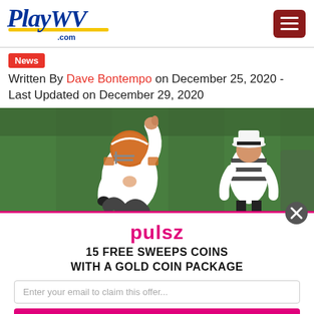[Figure (logo): PlayWV.com logo in blue with yellow underline stroke]
[Figure (other): Hamburger menu icon on dark red background]
News
Written By Dave Bontempo on December 25, 2020 - Last Updated on December 29, 2020
[Figure (photo): NFL player wearing Cleveland Browns orange helmet with arm raised in celebration, referee in background on football field]
pulsz
15 FREE SWEEPS COINS WITH A GOLD COIN PACKAGE
Enter your email to claim this offer...
CLAIM OFFER